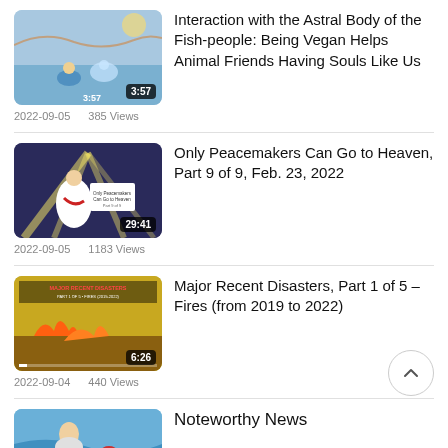[Figure (screenshot): Video thumbnail showing animated scene of person by water with fish, duration 3:57]
Interaction with the Astral Body of the Fish-people: Being Vegan Helps Animal Friends Having Souls Like Us
2022-09-05    385 Views
[Figure (screenshot): Video thumbnail showing spiritual/religious figure with light rays, duration 29:41]
Only Peacemakers Can Go to Heaven, Part 9 of 9, Feb. 23, 2022
2022-09-05    1183 Views
[Figure (screenshot): Video thumbnail showing fire disaster scene with overlay text Major Recent Disasters, duration 6:26]
Major Recent Disasters, Part 1 of 5 – Fires (from 2019 to 2022)
2022-09-04    440 Views
[Figure (screenshot): Video thumbnail showing woman with blue/teal background, partially visible]
Noteworthy News